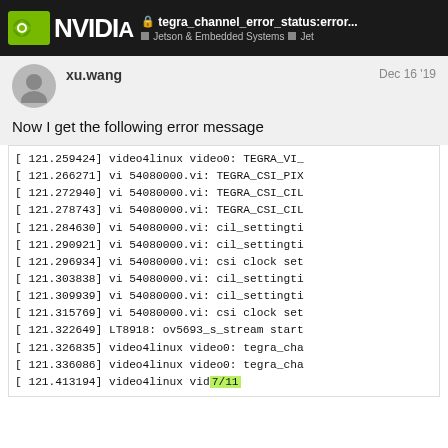NVIDIA | tegra_channel_error_status:error... | Jetson & Embedded Systems | Jet
xu.wang   Dec 16 '19
Now I get the following error message
[  121.259424] video4linux video0: TEGRA_VI_
[  121.266271] vi 54080000.vi: TEGRA_CSI_PIX
[  121.272940] vi 54080000.vi: TEGRA_CSI_CIL
[  121.278743] vi 54080000.vi: TEGRA_CSI_CIL
[  121.284630] vi 54080000.vi: cil_settingti
[  121.290921] vi 54080000.vi: cil_settingti
[  121.296934] vi 54080000.vi: csi clock set
[  121.303838] vi 54080000.vi: cil_settingti
[  121.309939] vi 54080000.vi: cil_settingti
[  121.315769] vi 54080000.vi: csi clock set
[  121.322649] LT8918: ov5693_s_stream start
[  121.326835] video4linux video0: tegra_cha
[  121.336086] video4linux video0: tegra_cha
[  121.413194] video4linux vid
7/11